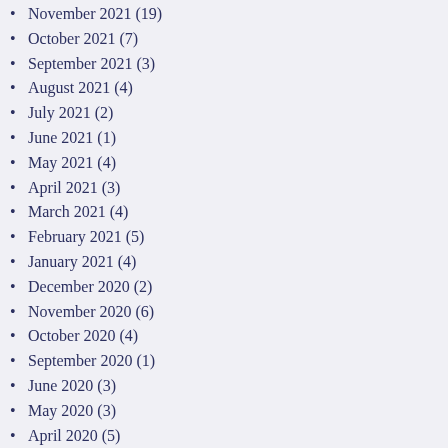November 2021 (19)
October 2021 (7)
September 2021 (3)
August 2021 (4)
July 2021 (2)
June 2021 (1)
May 2021 (4)
April 2021 (3)
March 2021 (4)
February 2021 (5)
January 2021 (4)
December 2020 (2)
November 2020 (6)
October 2020 (4)
September 2020 (1)
June 2020 (3)
May 2020 (3)
April 2020 (5)
March 2020 (3)
February 2020 (4)
January 2020 (4)
December 2019 (3)